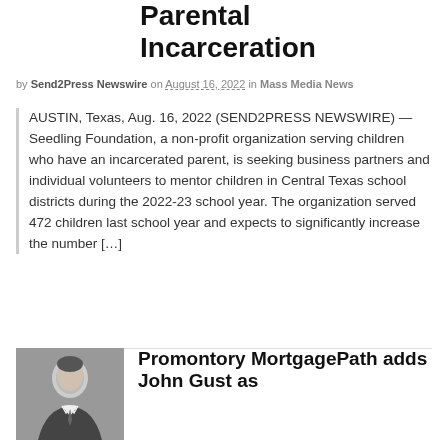Parental Incarceration
by Send2Press Newswire on August 16, 2022 in Mass Media News
AUSTIN, Texas, Aug. 16, 2022 (SEND2PRESS NEWSWIRE) — Seedling Foundation, a non-profit organization serving children who have an incarcerated parent, is seeking business partners and individual volunteers to mentor children in Central Texas school districts during the 2022-23 school year. The organization served 472 children last school year and expects to significantly increase the number […]
Continue Reading
[Figure (photo): Black and white headshot of a man in a suit]
Promontory MortgagePath adds John Gust as